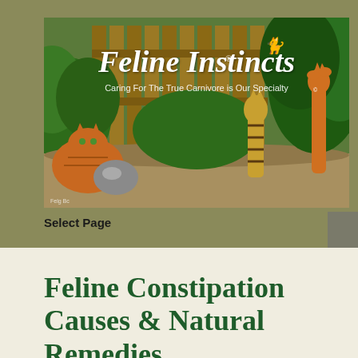[Figure (photo): Feline Instincts website banner/logo featuring cats in a garden setting with wooden fence and lush green plants. An orange tabby cat lounges on the left, a striped Bengal-type cat stands in the center-right, and an orange cat stretches up against greenery on the far right. The logo reads 'Feline Instincts' in ornate script with registered trademark symbol, and tagline 'Caring For The True Carnivore is Our Specialty']
Select Page
Feline Constipation Causes & Natural Remedies